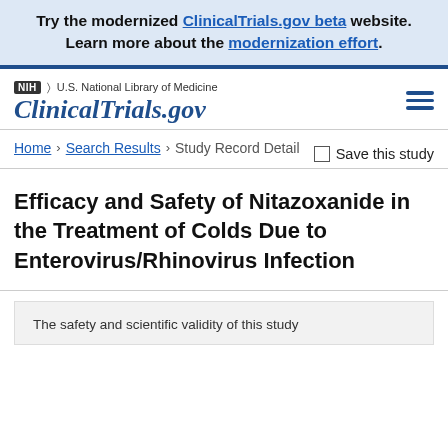Try the modernized ClinicalTrials.gov beta website. Learn more about the modernization effort.
NIH U.S. National Library of Medicine | ClinicalTrials.gov
Home > Search Results > Study Record Detail | Save this study
Efficacy and Safety of Nitazoxanide in the Treatment of Colds Due to Enterovirus/Rhinovirus Infection
The safety and scientific validity of this study